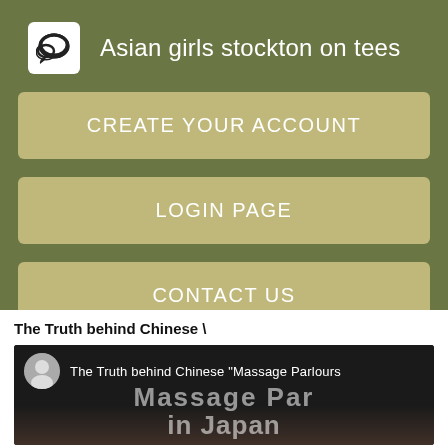Asian girls stockton on tees
CREATE YOUR ACCOUNT
LOGIN PAGE
CONTACT US
The Truth behind Chinese \
[Figure (screenshot): Video thumbnail showing 'The Truth behind Chinese "Massage Parlours" in Japan' with a person avatar and overlay text]